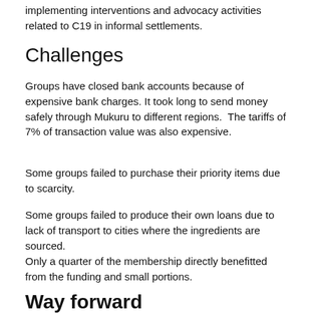implementing interventions and advocacy activities related to C19 in informal settlements.
Challenges
Groups have closed bank accounts because of expensive bank charges. It took long to send money safely through Mukuru to different regions.  The tariffs of 7% of transaction value was also expensive.
Some groups failed to purchase their priority items due to scarcity.
Some groups failed to produce their own loans due to lack of transport to cities where the ingredients are sourced.
Only a quarter of the membership directly benefitted from the funding and small portions.
Way forward